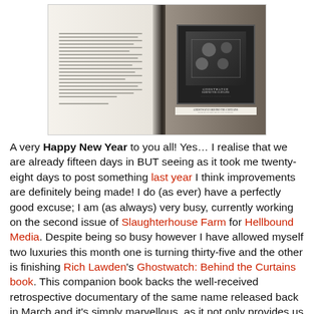[Figure (photo): A photograph of an open book showing two pages. The left page contains dense text. The right page shows what appears to be a movie or documentary poster/image with 'Behind the Curtains' visible as a title. A label or caption strip is visible at the bottom of the right page.]
A very Happy New Year to you all! Yes… I realise that we are already fifteen days in BUT seeing as it took me twenty-eight days to post something last year I think improvements are definitely being made! I do (as ever) have a perfectly good excuse; I am (as always) very busy, currently working on the second issue of Slaughterhouse Farm for Hellbound Media. Despite being so busy however I have allowed myself two luxuries this month one is turning thirty-five and the other is finishing Rich Lawden's Ghostwatch: Behind the Curtains book. This companion book backs the well-received retrospective documentary of the same name released back in March and it's simply marvellous, as it not only provides us with the making of the documentary it also further